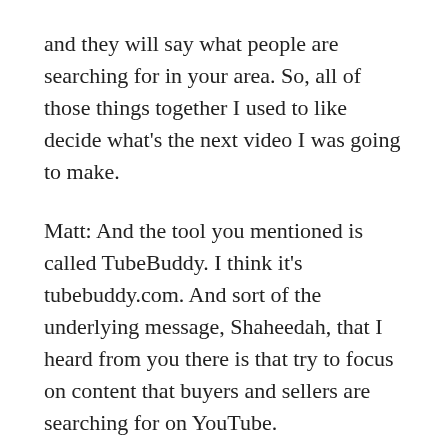and they will say what people are searching for in your area. So, all of those things together I used to like decide what's the next video I was going to make.
Matt: And the tool you mentioned is called TubeBuddy. I think it's tubebuddy.com. And sort of the underlying message, Shaheedah, that I heard from you there is that try to focus on content that buyers and sellers are searching for on YouTube.
Shaheedah: Yes. When you're starting out, I wouldn't do a video that people weren't searching for. You're going to probably waste